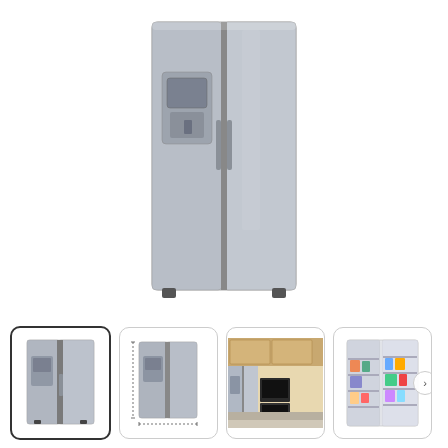[Figure (photo): Main product image: Samsung side-by-side refrigerator in stainless steel finish with water/ice dispenser on the left door, shown against white background]
[Figure (photo): Thumbnail 1 (selected, with dark border): Samsung side-by-side refrigerator front view, stainless steel]
[Figure (photo): Thumbnail 2: Samsung side-by-side refrigerator with dimension annotations]
[Figure (photo): Thumbnail 3: Samsung refrigerator shown in a kitchen setting with wooden cabinetry and other appliances]
[Figure (photo): Thumbnail 4: Samsung side-by-side refrigerator with doors open showing interior shelves and food items]